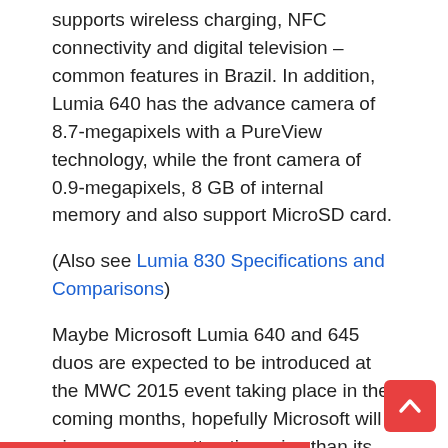supports wireless charging, NFC connectivity and digital television – common features in Brazil. In addition, Lumia 640 has the advance camera of 8.7-megapixels with a PureView technology, while the front camera of 0.9-megapixels, 8 GB of internal memory and also support MicroSD card.
(Also see Lumia 830 Specifications and Comparisons)
Maybe Microsoft Lumia 640 and 645 duos are expected to be introduced at the MWC 2015 event taking place in the coming months, hopefully Microsoft will give us a more attractive price than its predecessor. This will be the fourth device attached to the brand name Microsoft, after the Lumia 535, Lumia 532 and Lumia 435.
Lumia 640 Specs:
Display of 5.0 inches